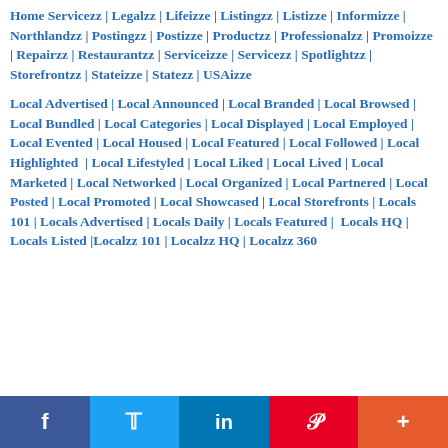Home Servicezz | Legalzz | Lifeizze | Listingzz | Listizze | Informizze | Northlandzz | Postingzz | Postizze | Productzz | Professionalzz | Promoizze | Repairzz | Restaurantzz | Serviceizze | Servicezz | Spotlightzz | Storefrontzz | Stateizze | Statezz | USAizze
Local Advertised | Local Announced | Local Branded | Local Browsed | Local Bundled | Local Categories | Local Displayed | Local Employed | Local Evented | Local Housed | Local Featured | Local Followed | Local Highlighted | Local Lifestyled | Local Liked | Local Lived | Local Marketed | Local Networked | Local Organized | Local Partnered | Local Posted | Local Promoted | Local Showcased | Local Storefronts | Locals 101 | Locals Advertised | Locals Daily | Locals Featured | Locals HQ | Locals Listed | Localzz 101 | Localzz HQ | Localzz 360
f | Twitter | in | Pinterest | +